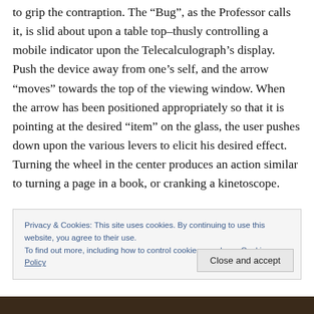to grip the contraption. The “Bug”, as the Professor calls it, is slid about upon a table top–thusly controlling a mobile indicator upon the Telecalculograph’s display. Push the device away from one’s self, and the arrow “moves” towards the top of the viewing window. When the arrow has been positioned appropriately so that it is pointing at the desired “item” on the glass, the user pushes down upon the various levers to elicit his desired effect. Turning the wheel in the center produces an action similar to turning a page in a book, or cranking a kinetoscope.
Privacy & Cookies: This site uses cookies. By continuing to use this website, you agree to their use.
To find out more, including how to control cookies, see here: Cookie Policy
[Figure (photo): Bottom portion of a dark image, partially visible at the bottom of the page]